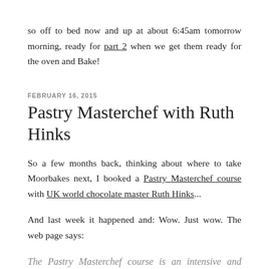so off to bed now and up at about 6:45am tomorrow morning, ready for part 2 when we get them ready for the oven and Bake!
FEBRUARY 16, 2015
Pastry Masterchef with Ruth Hinks
So a few months back, thinking about where to take Moorbakes next, I booked a Pastry Masterchef course with UK world chocolate master Ruth Hinks...
And last week it happened and: Wow. Just wow. The web page says:
The Pastry Masterchef course is an intensive and challenging two days aimed at chefs,